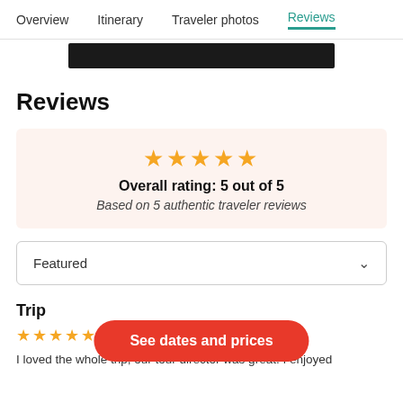Overview  Itinerary  Traveler photos  Reviews
[Figure (other): Black redacted/blurred image bar]
Reviews
★★★★★
Overall rating: 5 out of 5
Based on 5 authentic traveler reviews
Featured
Trip
★★★★★ Jan
I loved the whole trip, our tour director was great. I enjoyed
[Figure (other): Red CTA button: See dates and prices]